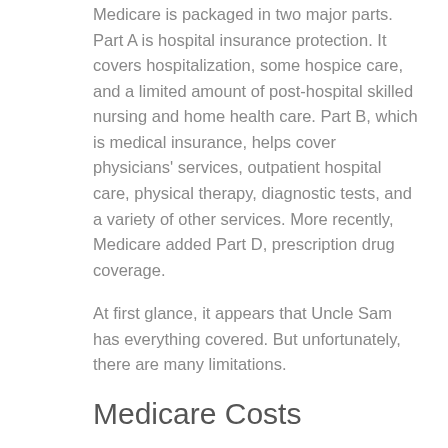Medicare is packaged in two major parts. Part A is hospital insurance protection. It covers hospitalization, some hospice care, and a limited amount of post-hospital skilled nursing and home health care. Part B, which is medical insurance, helps cover physicians' services, outpatient hospital care, physical therapy, diagnostic tests, and a variety of other services. More recently, Medicare added Part D, prescription drug coverage.
At first glance, it appears that Uncle Sam has everything covered. But unfortunately, there are many limitations.
Medicare Costs
Every time you go to the hospital, you have to pay a certain amount of your hospitalization costs, unless your visits are separated by fewer than 60 days. If that's the case, you pay the deductible only the first time. If you stay in the hospital longer than 60 days,